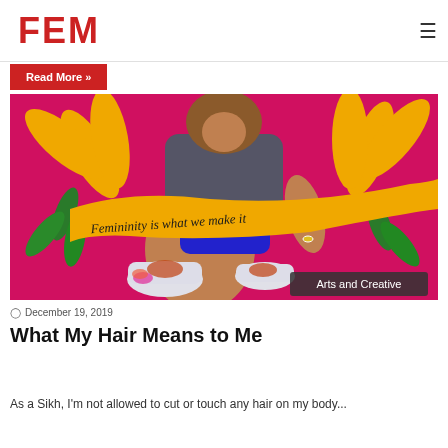A Diet By Any Other Name
Picture... What do you think of when you hear the word diet? For many women it might bring...
FEM
Read More »
[Figure (illustration): Illustration of a person sitting cross-legged wearing colorful sneakers, with sunflowers and greenery on a pink background. A gold banner ribbon reads 'Femininity is what we make it' in cursive script. A red label reads 'Arts and Creative'.]
December 19, 2019
What My Hair Means to Me
As a Sikh, I'm not allowed to cut or touch any hair on my body...